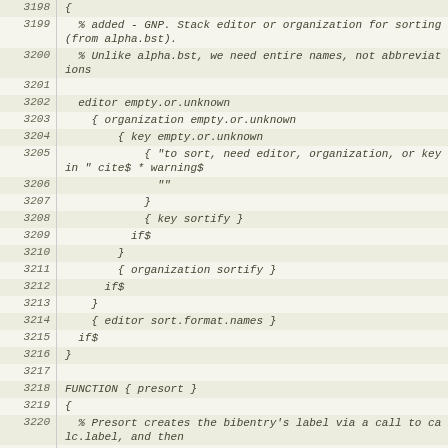| line | code |
| --- | --- |
| 3198 | { |
| 3199 |   % added - GNP. Stack editor or organization for sorting (from alpha.bst). |
| 3200 |   % Unlike alpha.bst, we need entire names, not abbreviations |
| 3201 |  |
| 3202 |   editor empty.or.unknown |
| 3203 |     { organization empty.or.unknown |
| 3204 |         { key empty.or.unknown |
| 3205 |             { "to sort, need editor, organization, or key in " cite$ * warning$ |
| 3206 |               "" |
| 3207 |             } |
| 3208 |             { key sortify } |
| 3209 |           if$ |
| 3210 |         } |
| 3211 |         { organization sortify } |
| 3212 |       if$ |
| 3213 |     } |
| 3214 |     { editor sort.format.names } |
| 3215 |   if$ |
| 3216 | } |
| 3217 |  |
| 3218 | FUNCTION { presort } |
| 3219 | { |
| 3220 |   % Presort creates the bibentry's label via a call to calc.label, and then |
| 3221 |   % sorts the entries based on entry type. Chicago.bst adds support for |
| 3222 |   % including organizations as the sort key; the following is stolen from |
| 3223 |   % alpha.bst. |
| 3224 |  |
| 3225 |  |